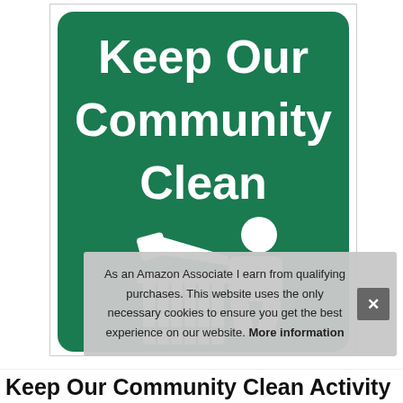[Figure (illustration): Green sign with white bold text reading 'Keep Our Community Clean' and a white icon of a person throwing trash into a waste bin]
As an Amazon Associate I earn from qualifying purchases. This website uses the only necessary cookies to ensure you get the best experience on our website. More information
Keep Our Community Clean Activity